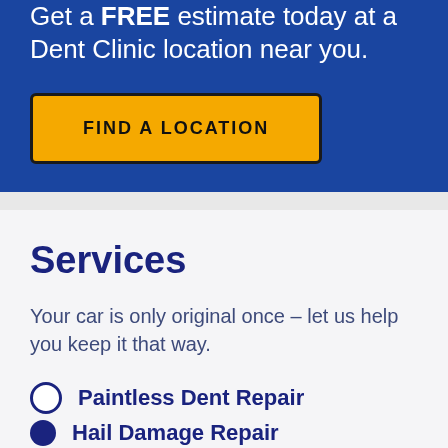Get a FREE estimate today at a Dent Clinic location near you.
FIND A LOCATION
Services
Your car is only original once – let us help you keep it that way.
Paintless Dent Repair
Hail Damage Repair